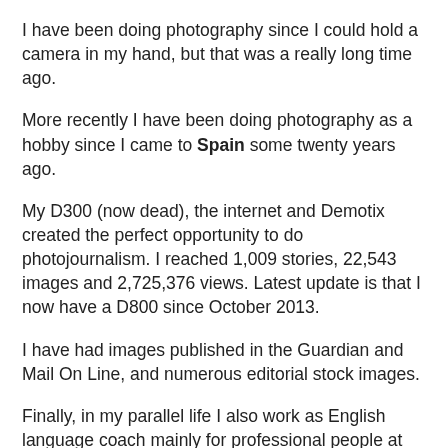I have been doing photography since I could hold a camera in my hand, but that was a really long time ago.
More recently I have been doing photography as a hobby since I came to Spain some twenty years ago.
My D300 (now dead), the internet and Demotix created the perfect opportunity to do photojournalism. I reached 1,009 stories, 22,543 images and 2,725,376 views. Latest update is that I now have a D800 since October 2013.
I have had images published in the Guardian and Mail On Line, and numerous editorial stock images.
Finally, in my parallel life I also work as English language coach mainly for professional people at manager or executive level. I also specialise in scientific and medical proofreading and editing